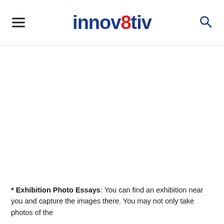innov8tiv
[Figure (other): Large blank/white content area, possibly an image placeholder]
* Exhibition Photo Essays: You can find an exhibition near you and capture the images there. You may not only take photos of the